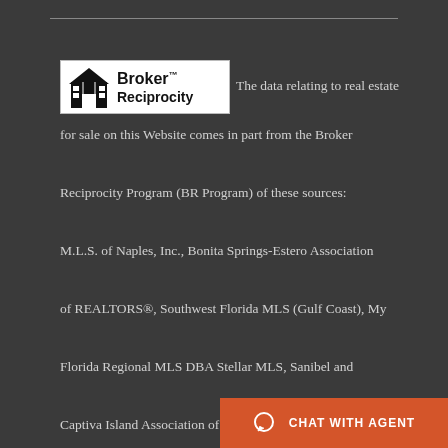[Figure (logo): Broker Reciprocity logo with house icon and text]
The data relating to real estate for sale on this Website comes in part from the Broker Reciprocity Program (BR Program) of these sources: M.L.S. of Naples, Inc., Bonita Springs-Estero Association of REALTORS®, Southwest Florida MLS (Gulf Coast), My Florida Regional MLS DBA Stellar MLS, Sanibel and Captiva Island Association of Realtors®. Properties listed with brokerage firms other than Featured Home Listings are marked with the BR House Icon and detailed information about them includes the name of the Listing Brokers. The prope...